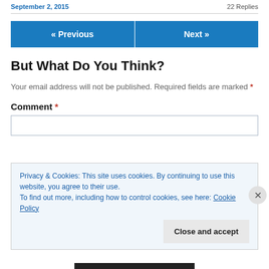September 2, 2015 ... 22 Replies
« Previous    Next »
But What Do You Think?
Your email address will not be published. Required fields are marked *
Comment *
Privacy & Cookies: This site uses cookies. By continuing to use this website, you agree to their use.
To find out more, including how to control cookies, see here: Cookie Policy
Close and accept